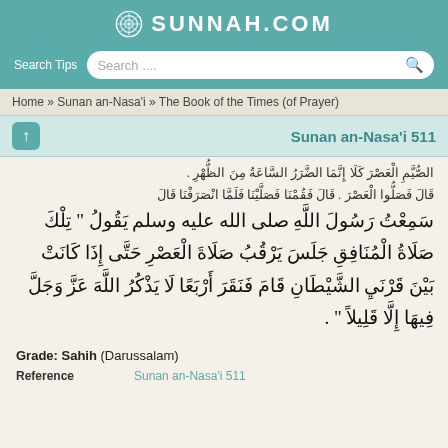SUNNAH.COM
Search Tips  Search....
Home » Sunan an-Nasa'i » The Book of the Times (of Prayer)
Sunan an-Nasa'i 511
Arabic hadith text (partial, continued from previous)
Grade: Sahih (Darussalam)
Reference: Sunan an-Nasa'i 511